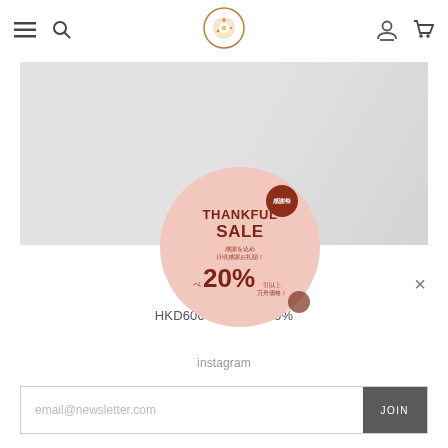[Figure (screenshot): E-commerce website navbar with hamburger menu, search icon, donut shop logo (circular donut illustration), user account icon, and shopping cart icon]
[Figure (illustration): Light gray promotional banner with a pink circular badge reading THANKFUL SALE with Chinese text and 20% off promotion]
×
HKD600    20%
instagram
email@newsletter.com
JOIN